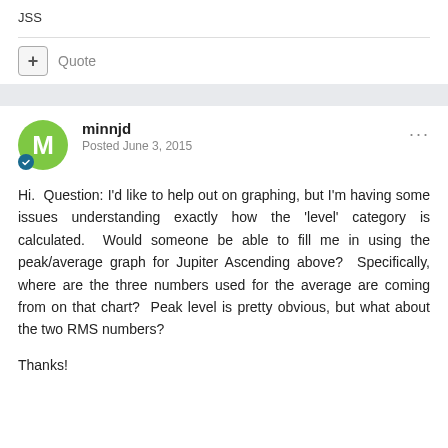JSS
Quote
minnjd
Posted June 3, 2015
Hi.  Question: I'd like to help out on graphing, but I'm having some issues understanding exactly how the 'level' category is calculated.  Would someone be able to fill me in using the peak/average graph for Jupiter Ascending above?  Specifically, where are the three numbers used for the average are coming from on that chart?  Peak level is pretty obvious, but what about the two RMS numbers?
Thanks!